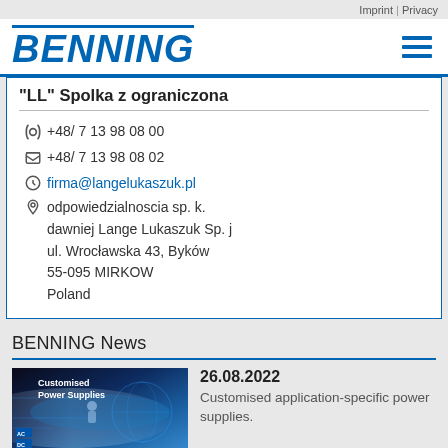Imprint | Privacy
[Figure (logo): BENNING logo in blue bold italic text with hamburger menu icon]
"LL" Spolka z ograniczona
+48/ 7 13 98 08 00
+48/ 7 13 98 08 02
firma@langelukaszuk.pl
odpowiedzialnoscia sp. k. dawniej Lange Lukaszuk Sp. j
ul. Wrocławska 43, Byków
55-095 MIRKOW
Poland
BENNING News
[Figure (photo): Customised Power Supplies promotional image with dark gradient background showing technology/people]
26.08.2022
Customised application-specific power supplies.